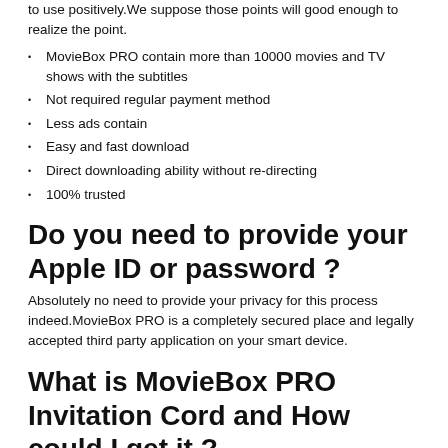to use positively.We suppose those points will good enough to realize the point.
MovieBox PRO contain more than 10000 movies and TV shows with the subtitles
Not required regular payment method
Less ads contain
Easy and fast download
Direct downloading ability without re-directing
100% trusted
Do you need to provide your Apple ID or password ?
Absolutely no need to provide your privacy for this process indeed.MovieBox PRO is a completely secured place and legally accepted third party application on your smart device.
What is MovieBox PRO Invitation Cord and How could I get it ?
MovieBox PRO team has been taken several forwarded